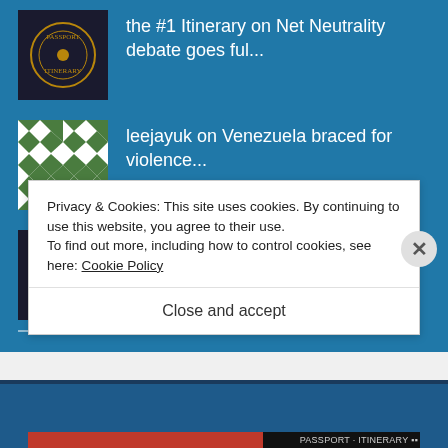the #1 Itinerary on Net Neutrality debate goes ful...
leejayuk on Venezuela braced for violence...
the #1 Itinerary on Venezuela braced for violence...
Privacy & Cookies: This site uses cookies. By continuing to use this website, you agree to their use.
To find out more, including how to control cookies, see here: Cookie Policy
Close and accept